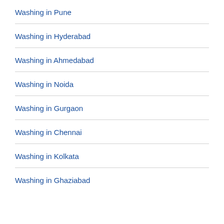Washing in Pune
Washing in Hyderabad
Washing in Ahmedabad
Washing in Noida
Washing in Gurgaon
Washing in Chennai
Washing in Kolkata
Washing in Ghaziabad